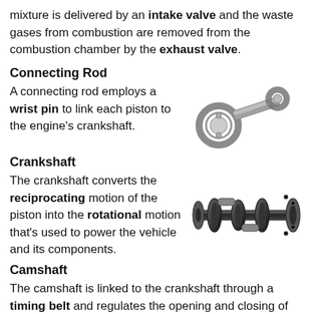mixture is delivered by an intake valve and the waste gases from combustion are removed from the combustion chamber by the exhaust valve.
Connecting Rod
A connecting rod employs a wrist pin to link each piston to the engine's crankshaft.
[Figure (photo): Photo of a connecting rod, a metal component with a circular end and elongated body used in engines.]
Crankshaft
The crankshaft converts the reciprocating motion of the piston into the rotational motion that's used to power the vehicle and its components.
[Figure (photo): Photo of a crankshaft, a dark metal engine component with multiple offset journal pins.]
Camshaft
The camshaft is linked to the crankshaft through a timing belt and regulates the opening and closing of the